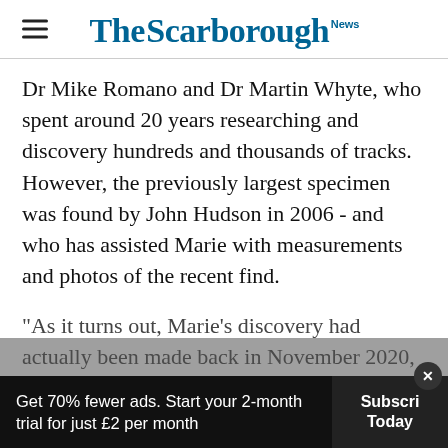The Scarborough News
Dr Mike Romano and Dr Martin Whyte, who spent around 20 years researching and discovery hundreds and thousands of tracks. However, the previously largest specimen was found by John Hudson in 2006 - and who has assisted Marie with measurements and photos of the recent find.
"As it turns out, Marie's discovery had actually been made back in November 2020, but nobody had realised how important the specimen wa...